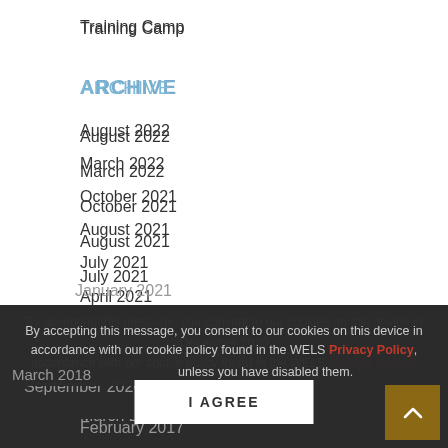Training Camp
ARCHIVE
August 2022
March 2022
October 2021
August 2021
July 2021
April 2021
January 2021
November 2020
September 2020
March 2018
March 2017
February 2017
By accepting this message, you consent to our cookies on this device in accordance with our cookie policy found in the WELS Privacy Policy, unless you have disabled them.
I AGREE